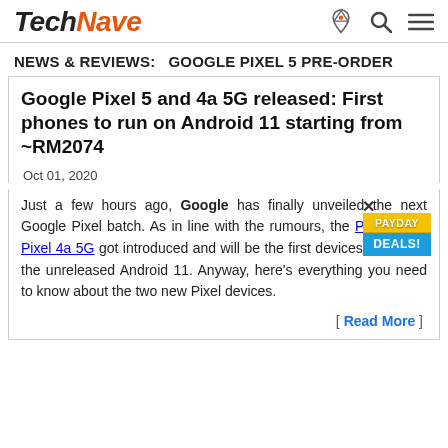TechNave
NEWS & REVIEWS:   GOOGLE PIXEL 5 PRE-ORDER
Google Pixel 5 and 4a 5G released: First phones to run on Android 11 starting from ~RM2074
Oct 01, 2020
Just a few hours ago, Google has finally unveiled the next Google Pixel batch. As in line with the rumours, the Pixel 5 and Pixel 4a 5G got introduced and will be the first devices to feature the unreleased Android 11. Anyway, here's everything you need to know about the two new Pixel devices.
[ Read More ]